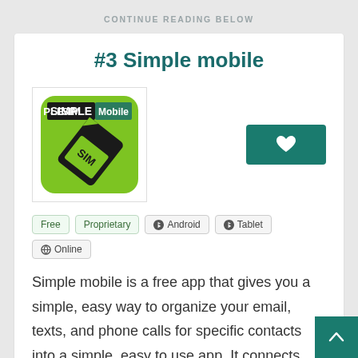CONTINUE READING BELOW
#3 Simple mobile
[Figure (logo): Simple Mobile app logo — green rounded-square background with SIM card graphic and 'SIMPLE Mobile' text]
Free | Proprietary | Android | Tablet | Online
Simple mobile is a free app that gives you a simple, easy way to organize your email, texts, and phone calls for specific contacts into a simple, easy to use app. It connects directly to